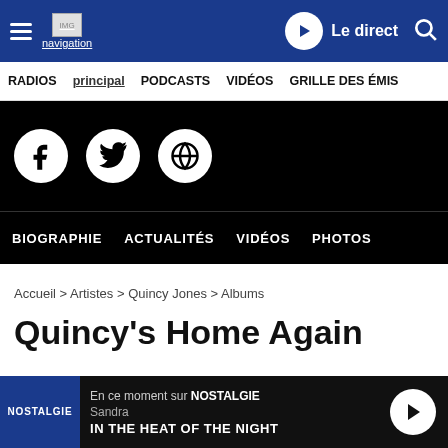navigation principal — Le direct — RADIOS — PODCASTS — VIDÉOS — GRILLE DES ÉMIS
[Figure (screenshot): Social media icons: Facebook, Twitter, Globe/Website on black background]
BIOGRAPHIE  ACTUALITÉS  VIDÉOS  PHOTOS
Accueil > Artistes > Quincy Jones > Albums
Quincy's Home Again
En ce moment sur NOSTALGIE — Sandra — IN THE HEAT OF THE NIGHT